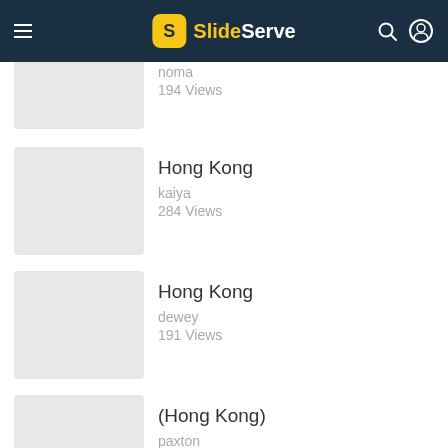SlideServe
noma · 194 Views
Hong Kong · kaiya · 284 Views
Hong Kong · dewey · 191 Views
(Hong Kong) · paxton · 221 Views